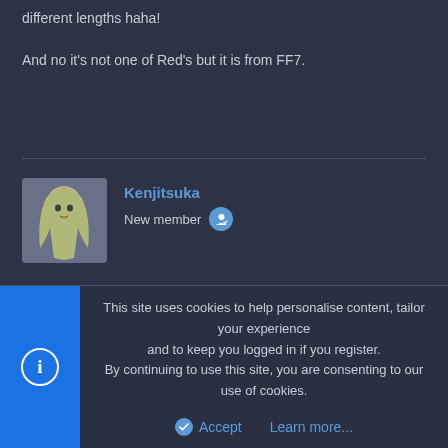different lengths haha!

And no it's not one of Red's but it is from FF7.
Kenjitsuka
New member
Feb 23, 2010   #13
Nanaki316 said:

And no it's not one of Red's but it is from FF7.
This site uses cookies to help personalise content, tailor your experience and to keep you logged in if you register.
By continuing to use this site, you are consenting to our use of cookies.
Accept   Learn more...